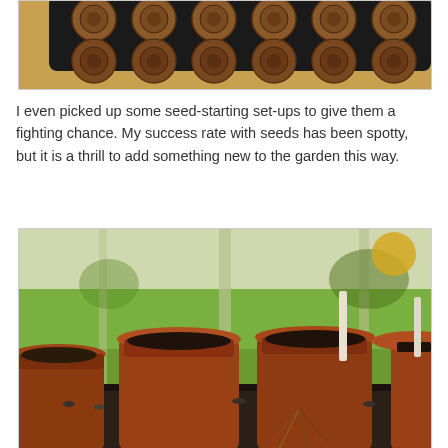[Figure (photo): Close-up photo of a black seed-starting tray with circular peat pellets arranged in a grid pattern, on a warm golden/brown surface.]
I even picked up some seed-starting set-ups to give them a fighting chance. My success rate with seeds has been spotty, but it is a thrill to add something new to the garden this way.
[Figure (photo): Photo of four terracotta clay pots filled with dark potting soil, sitting on a windowsill with a green garden/lawn visible through the window in the background. One pot has a white plant label stake. Some dried plant material is visible near the pots.]